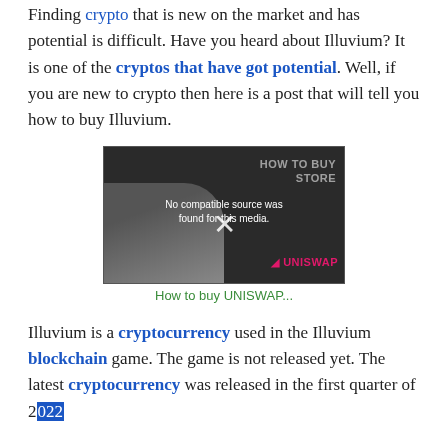Finding crypto that is new on the market and has potential is difficult. Have you heard about Illuvium? It is one of the cryptos that have got potential. Well, if you are new to crypto then here is a post that will tell you how to buy Illuvium.
[Figure (screenshot): Video player showing a person with text overlay 'No compatible source was found for this media.' and an X button. Background shows 'HOW TO BUY ... STORE' text and Uniswap logo in pink.]
How to buy UNISWAP...
Illuvium is a cryptocurrency used in the Illuvium blockchain game. The game is not released yet. The latest cryptocurrency was released in the first quarter of 2022.